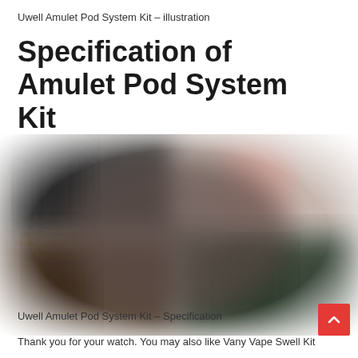Uwell Amulet Pod System Kit – illustration
Specification of Amulet Pod System Kit
[Figure (photo): Blurred/obscured photo of the Uwell Amulet Pod System Kit showing multiple device color variants arranged in a grid-like collage, heavily blurred for privacy or illustration purposes.]
Uwell Amulet Pod System Kit – Specification
Thank you for your watch. You may also like Vany Vape Swell Kit